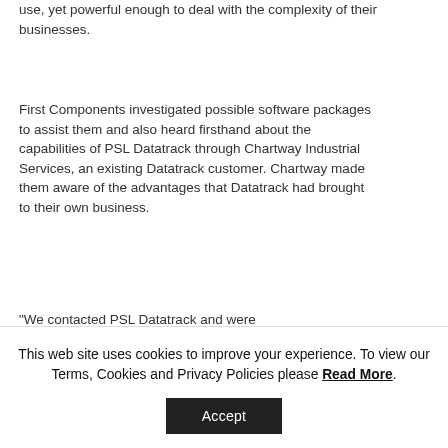use, yet powerful enough to deal with the complexity of their businesses.
First Components investigated possible software packages to assist them and also heard firsthand about the capabilities of PSL Datatrack through Chartway Industrial Services, an existing Datatrack customer. Chartway made them aware of the advantages that Datatrack had brought to their own business.
"We contacted PSL Datatrack and were
This web site uses cookies to improve your experience. To view our Terms, Cookies and Privacy Policies please Read More.
Accept